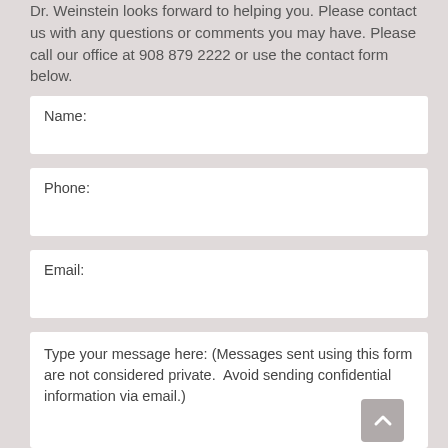Dr. Weinstein looks forward to helping you. Please contact us with any questions or comments you may have. Please call our office at 908 879 2222 or use the contact form below.
Name:
Phone:
Email:
Type your message here: (Messages sent using this form are not considered private.  Avoid sending confidential information via email.)